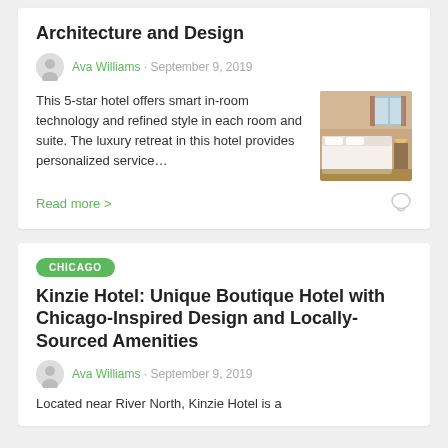Architecture and Design
Ava Williams · September 9, 2019
This 5-star hotel offers smart in-room technology and refined style in each room and suite. The luxury retreat in this hotel provides personalized service…
[Figure (photo): Hotel room interior with large bed, warm lighting, curtains and windows]
Read more >
CHICAGO
Kinzie Hotel: Unique Boutique Hotel with Chicago-Inspired Design and Locally-Sourced Amenities
Ava Williams · September 9, 2019
Located near River North, Kinzie Hotel is a